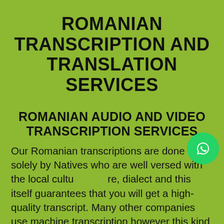ROMANIAN TRANSCRIPTION AND TRANSLATION SERVICES
ROMANIAN AUDIO AND VIDEO TRANSCRIPTION SERVICES
Our Romanian transcriptions are done solely by Natives who are well versed with the local culture, dialect and this itself guarantees that you will get a high-quality transcript. Many other companies use machine transcription however this kind of transcribing will leave massive errors in your text and may alter the